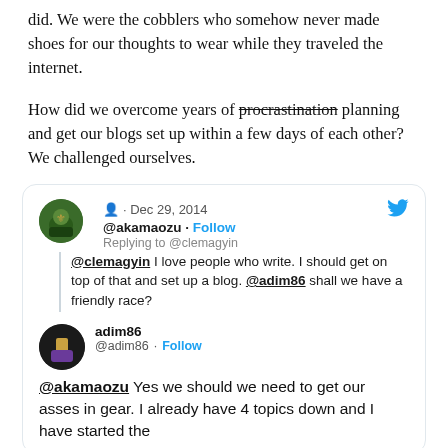did. We were the cobblers who somehow never made shoes for our thoughts to wear while they traveled the internet.
How did we overcome years of procrastination planning and get our blogs set up within a few days of each other? We challenged ourselves.
[Figure (screenshot): Embedded tweet from @akamaozu dated Dec 29, 2014: Replying to @clemagyin. '@clemagyin I love people who write. I should get on top of that and set up a blog. @adim86 shall we have a friendly race?' followed by adim86 @adim86 Follow reply: '@akamaozu Yes we should we need to get our asses in gear. I already have 4 topics down and I have started the']